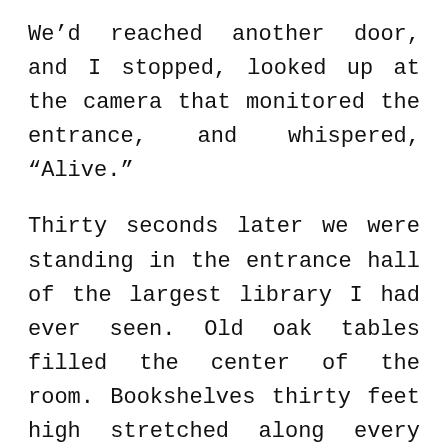We'd reached another door, and I stopped, looked up at the camera that monitored the entrance, and whispered, “Alive.”
Thirty seconds later we were standing in the entrance hall of the largest library I had ever seen. Old oak tables filled the center of the room. Bookshelves thirty feet high stretched along every wall. First editions of Thackeray and Forster sat behind protective glass, and Bex and I walked alone through the empty room like a pair of extremely literate thieves.